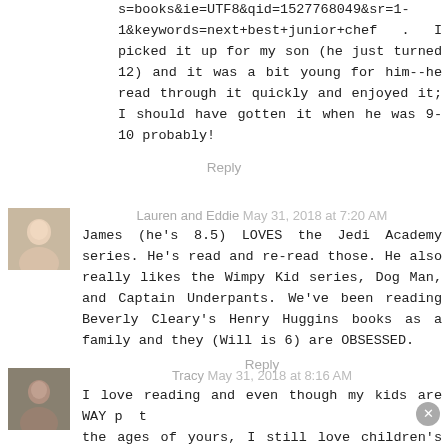s=books&ie=UTF8&qid=1527768049&sr=1-1&keywords=next+best+junior+chef . I picked it up for my son (he just turned 12) and it was a bit young for him--he read through it quickly and enjoyed it; I should have gotten it when he was 9-10 probably!
Reply
Lauren and Eddie May 31, 2018 at 7:20 AM
James (he's 8.5) LOVES the Jedi Academy series. He's read and re-read those. He also really likes the Wimpy Kid series, Dog Man, and Captain Underpants. We've been reading Beverly Cleary's Henry Huggins books as a family and they (Will is 6) are OBSESSED.
Reply
Tracy May 31, 2018 at 8:16 AM
I love reading and even though my kids are WAY past the ages of yours, I still love children's books. :) Great recommendations!